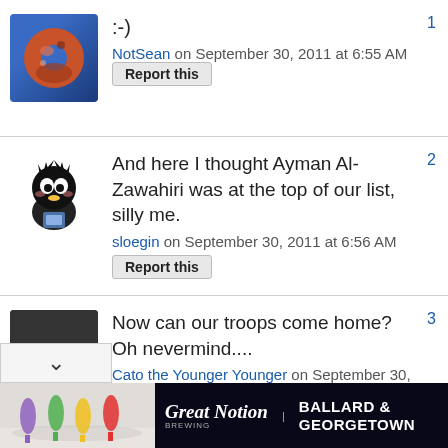:-)
NotSean on September 30, 2011 at 6:55 AM  Report this  1
And here I thought Ayman Al-Zawahiri was at the top of our list, silly me.
sloegin on September 30, 2011 at 6:56 AM  Report this  2
Now can our troops come home? Oh nevermind....
Cato the Younger Younger on September 30, 2011 at 6:59 AM  Report this  3
[Figure (other): Advertisement banner: Great Notion Brewing - Ballard & Georgetown, with colorful wine glasses on the left side]